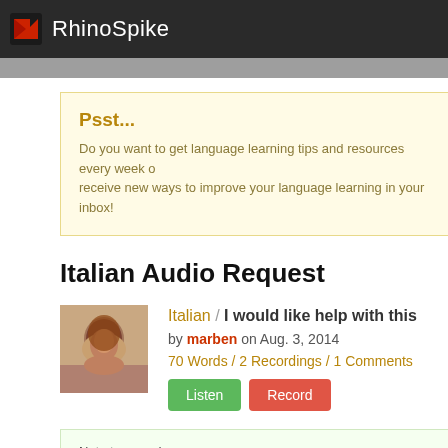RhinoSpike
Psst...
Do you want to get language learning tips and resources every week or receive new ways to improve your language learning in your inbox!
Italian Audio Request
Italian / I would like help with this
by marben on Aug. 3, 2014
70 Words / 2 Recordings / 1 Comments
Note to recorder:
Natural speed please.